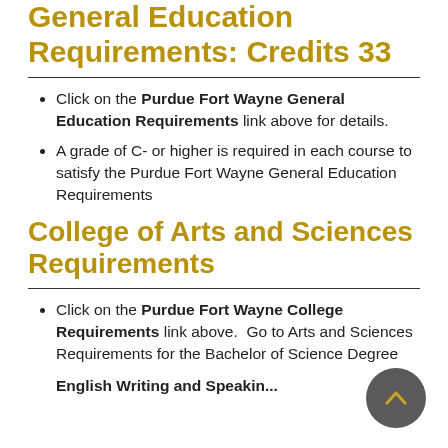General Education Requirements: Credits 33
Click on the Purdue Fort Wayne General Education Requirements link above for details.
A grade of C- or higher is required in each course to satisfy the Purdue Fort Wayne General Education Requirements
College of Arts and Sciences Requirements
Click on the Purdue Fort Wayne College Requirements link above.  Go to Arts and Sciences Requirements for the Bachelor of Science Degree
English Writing and Speaking...